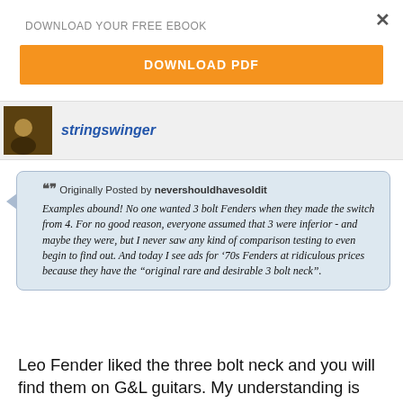DOWNLOAD YOUR FREE EBOOK
DOWNLOAD PDF
stringswinger
Originally Posted by nevershouldhavesoldit
Examples abound! No one wanted 3 bolt Fenders when they made the switch from 4. For no good reason, everyone assumed that 3 were inferior - and maybe they were, but I never saw any kind of comparison testing to even begin to find out. And today I see ads for ‘70s Fenders at ridiculous prices because they have the “original rare and desirable 3 bolt neck”.
Leo Fender liked the three bolt neck and you will find them on G&L guitars. My understanding is that CBS